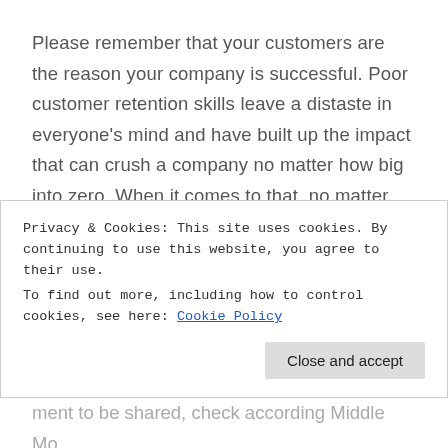Please remember that your customers are the reason your company is successful. Poor customer retention skills leave a distaste in everyone’s mind and have built up the impact that can crush a company no matter how big into zero. When it comes to that, no matter how huge the act might be, you will never be able to have another sellout concert again.
Do you have better methods than the 2 I have suggested? Please do share with us in the
Privacy & Cookies: This site uses cookies. By continuing to use this website, you agree to their use.
To find out more, including how to control cookies, see here: Cookie Policy
ment to be shared, check according Middle Mo...